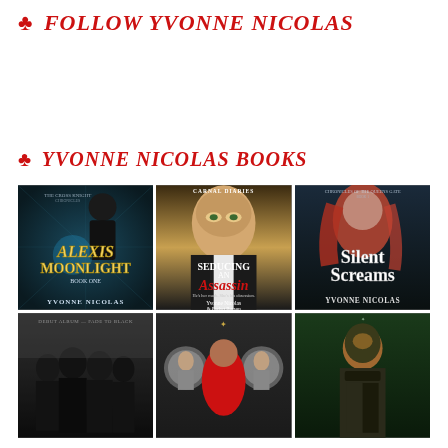♣ FOLLOW YVONNE NICOLAS
♣ YVONNE NICOLAS BOOKS
[Figure (photo): Grid of 6 book covers by Yvonne Nicolas: Alexis Moonlight Book One, Seducing An Assassin (with Pachet Burson), Silent Screams, Debut Album Fade to Black, and two others.]